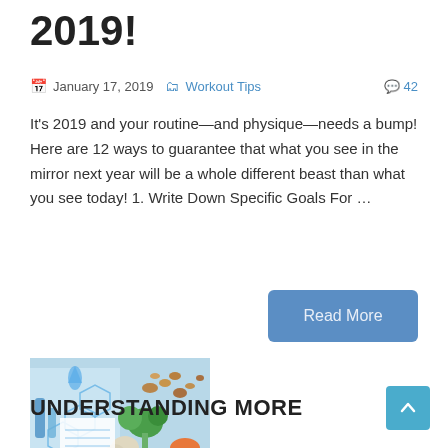2019!
January 17, 2019  Workout Tips  42
It's 2019 and your routine—and physique—needs a bump! Here are 12 ways to guarantee that what you see in the mirror next year will be a whole different beast than what you see today! 1. Write Down Specific Goals For ...
Read More
[Figure (photo): Food and nutrition photo showing vegetables, nuts, broccoli and a molecular structure diagram on a light blue background]
UNDERSTANDING MORE